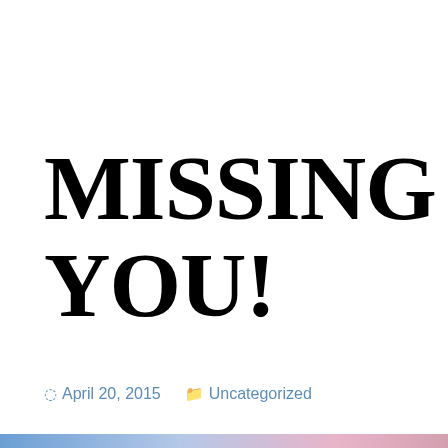MISSING YOU!
April 20, 2015   Uncategorized
I was blessed
Privacy & Cookies: This site uses cookies. By continuing to use this website, you agree to their use.
To find out more, including how to control cookies, see here: Cookie Policy
Close and accept